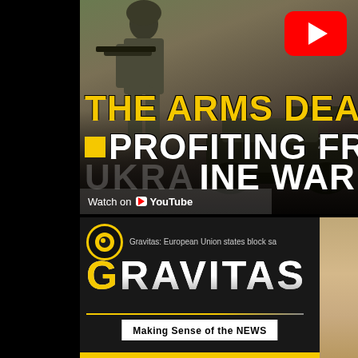[Figure (screenshot): YouTube video thumbnail showing military personnel with weapons and a tank, with bold text overlay reading 'THE ARMS DEA... PROFITING FRO... UKRAINE WAR' in yellow and white. A red YouTube play button badge is visible in the top right.]
Watch on YouTube
[Figure (screenshot): Gravitas news channel thumbnail showing the GRAVITAS logo with yellow G, a circular logo emblem, and text 'Gravitas: European Union states block sa...' and tagline 'Making Sense of the NEWS']